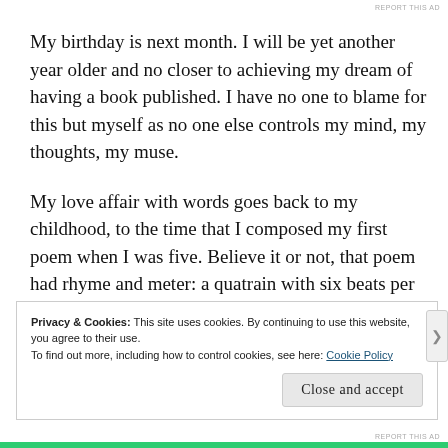REPORT THIS AD
My birthday is next month. I will be yet another year older and no closer to achieving my dream of having a book published. I have no one to blame for this but myself as no one else controls my mind, my thoughts, my muse.
My love affair with words goes back to my childhood, to the time that I composed my first poem when I was five. Believe it or not, that poem had rhyme and meter: a quatrain with six beats per line. From that moment, I knew that I wanted to do something in my life that involved
Privacy & Cookies: This site uses cookies. By continuing to use this website, you agree to their use.
To find out more, including how to control cookies, see here: Cookie Policy
Close and accept
REPORT THIS AD